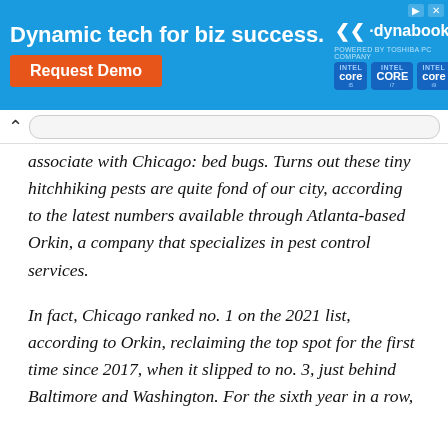[Figure (screenshot): Advertisement banner for Dynabook laptops with Intel Core processors. Blue background with text 'Dynamic tech for biz success.' and an orange 'Request Demo' button. Shows dynabook logo with Intel Core chip badges.]
associate with Chicago: bed bugs. Turns out these tiny hitchhiking pests are quite fond of our city, according to the latest numbers available through Atlanta-based Orkin, a company that specializes in pest control services.
In fact, Chicago ranked no. 1 on the 2021 list, according to Orkin, reclaiming the top spot for the first time since 2017, when it slipped to no. 3, just behind Baltimore and Washington. For the sixth year in a row,